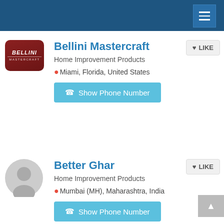[Figure (screenshot): Navigation bar with hamburger menu icon on dark blue background]
[Figure (logo): Bellini Mastercraft logo - dark red rounded rectangle with italic Bellini text]
Bellini Mastercraft
Home Improvement Products
Miami, Florida, United States
Show Phone Number
[Figure (photo): Generic user avatar circle (gray silhouette)]
Better Ghar
Home Improvement Products
Mumbai (MH), Maharashtra, India
Show Phone Number
[Figure (logo): Bigwani landscaping logo - circular with orange/yellow fruit graphic]
bigwani landscaping